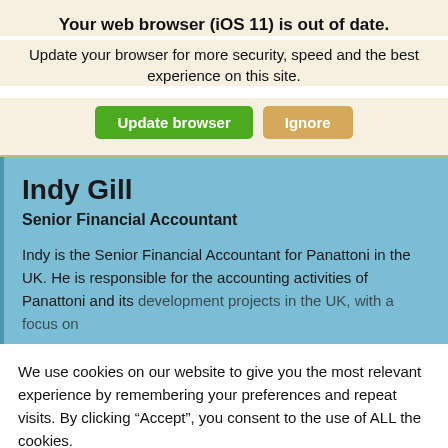Your web browser (iOS 11) is out of date.
Update your browser for more security, speed and the best experience on this site.
Indy Gill
Senior Financial Accountant
Indy is the Senior Financial Accountant for Panattoni in the UK. He is responsible for the accounting activities of Panattoni and its development projects in the UK, with a focus on
We use cookies on our website to give you the most relevant experience by remembering your preferences and repeat visits. By clicking “Accept”, you consent to the use of ALL the cookies.